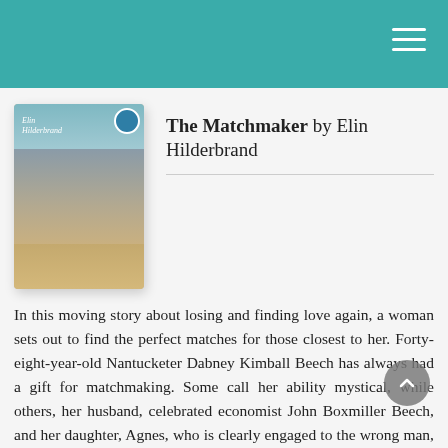[Figure (illustration): Book cover of 'The Matchmaker' by Elin Hilderbrand, showing two people embracing on a beach with a teal sky background.]
The Matchmaker by Elin Hilderbrand
In this moving story about losing and finding love again, a woman sets out to find the perfect matches for those closest to her. Forty-eight-year-old Nantucketer Dabney Kimball Beech has always had a gift for matchmaking. Some call her ability mystical, while others, her husband, celebrated economist John Boxmiller Beech, and her daughter, Agnes, who is clearly engaged to the wrong man, call it meddlesome. But there's no arguing